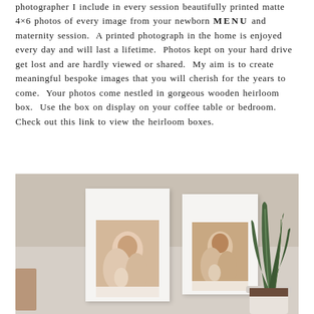photographer I include in every session beautifully printed matte 4×6 photos of every image from your newborn and maternity session. A printed photograph in the home is enjoyed every day and will last a lifetime. Photos kept on your hard drive get lost and are hardly viewed or shared. My aim is to create meaningful bespoke images that you will cherish for the years to come. Your photos come nestled in gorgeous wooden heirloom box. Use the box on display on your coffee table or bedroom. Check out this link to view the heirloom boxes.
[Figure (photo): Two framed photos of a mother with a child/newborn displayed on a surface with a snake plant in a white pot on the right, and a wooden decorative piece on the left. Neutral warm-toned background.]